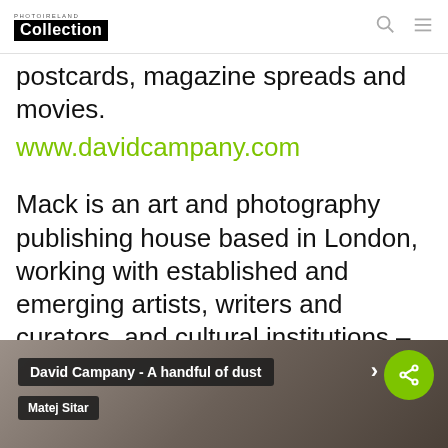PHOTOIRELAND Collection
postcards, magazine spreads and movies.
www.davidcampany.com
Mack is an art and photography publishing house based in London, working with established and emerging artists, writers and curators, and cultural institutions – releasing between 20-25 books per year.
[Figure (screenshot): Book title overlay: David Campany - A handful of dust, with Matej Sitar label and share button on a blurred dark background]